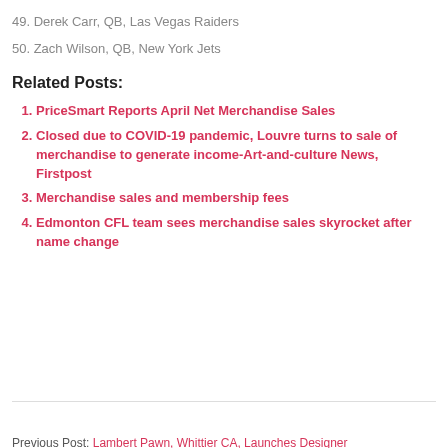49. Derek Carr, QB, Las Vegas Raiders
50. Zach Wilson, QB, New York Jets
Related Posts:
1. PriceSmart Reports April Net Merchandise Sales
2. Closed due to COVID-19 pandemic, Louvre turns to sale of merchandise to generate income-Art-and-culture News, Firstpost
3. Merchandise sales and membership fees
4. Edmonton CFL team sees merchandise sales skyrocket after name change
Previous Post: Lambert Pawn, Whittier CA, Launches Designer